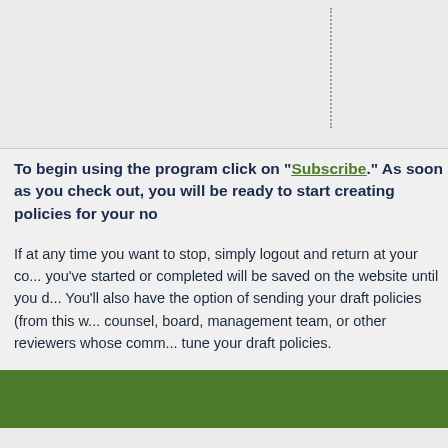To begin using the program click on "Subscribe." As soon as you check out, you will be ready to start creating policies for your no...
If at any time you want to stop, simply logout and return at your co... you've started or completed will be saved on the website until you d... You'll also have the option of sending your draft policies (from this w... counsel, board, management team, or other reviewers whose comm... tune your draft policies.